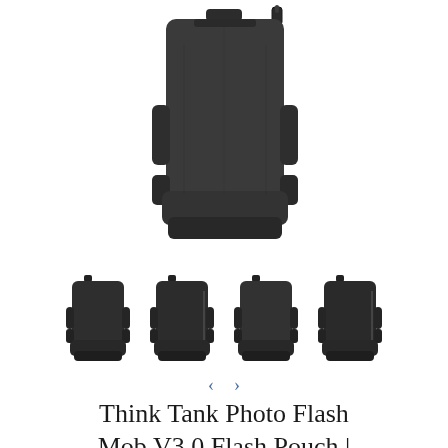[Figure (photo): Main product photo of Think Tank Photo Flash Mob V3.0 Flash Pouch, a dark gray/black camera flash bag shown from the back, displayed on white background]
[Figure (photo): Four thumbnail images of the Think Tank Photo Flash Mob V3.0 Flash Pouch shown from different angles, all in dark gray/black color]
Think Tank Photo Flash Mob V3.0 Flash Pouch |